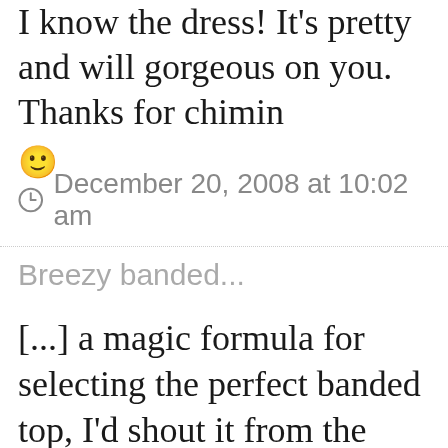I know the dress! It's pretty and will gorgeous on you. Thanks for chimin 😊
⊙ December 20, 2008 at 10:02 am
Breezy banded...
[...] a magic formula for selecting the perfect banded top, I'd shout it from the rooftops. But, like the elusive sweater dress, you'll probably need